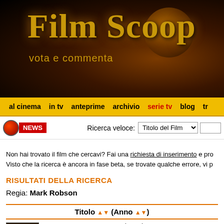Film Scoop
vota e commenta
al cinema  in tv  anteprime  archivio  serie tv  blog  tr
[Figure (screenshot): Film Scoop website header banner with golden text on dark background]
NEWS   Ricerca veloce: Titolo del Film [dropdown]
Non hai trovato il film che cercavi? Fai una richiesta di inserimento e pro... Visto che la ricerca è ancora in fase beta, se trovate qualche errore, vi p...
RISULTATI DELLA RICERCA
Regia: Mark Robson
| Titolo (Anno) |
| --- |
| AVALANCHE EXPRESS (1979)
AVALANCHE EXPRESS |
AVALANCHE EXPRESS (1979)
AVALANCHE EXPRESS